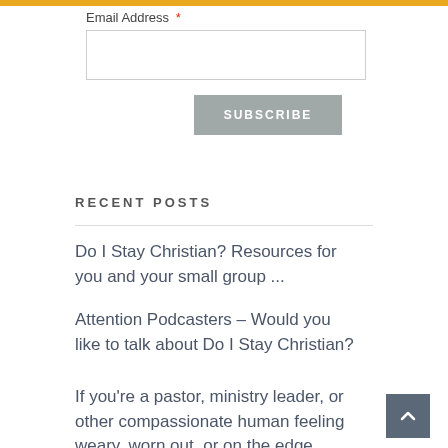Email Address *
[Figure (other): Email address text input field (empty)]
SUBSCRIBE
RECENT POSTS
Do I Stay Christian? Resources for you and your small group ...
Attention Podcasters – Would you like to talk about Do I Stay Christian?
If you're a pastor, ministry leader, or other compassionate human feeling weary, worn out, or on the edge ...